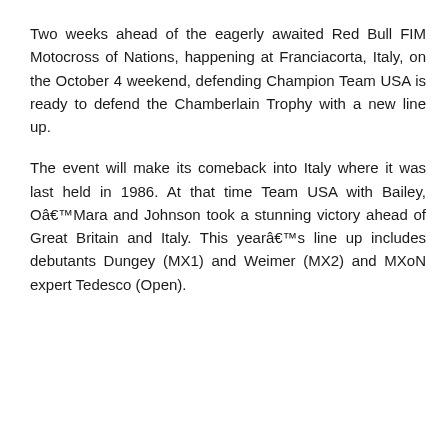Two weeks ahead of the eagerly awaited Red Bull FIM Motocross of Nations, happening at Franciacorta, Italy, on the October 4 weekend, defending Champion Team USA is ready to defend the Chamberlain Trophy with a new line up.
The event will make its comeback into Italy where it was last held in 1986. At that time Team USA with Bailey, Oâ€™Mara and Johnson took a stunning victory ahead of Great Britain and Italy. This yearâ€™s line up includes debutants Dungey (MX1) and Weimer (MX2) and MXoN expert Tedesco (Open).